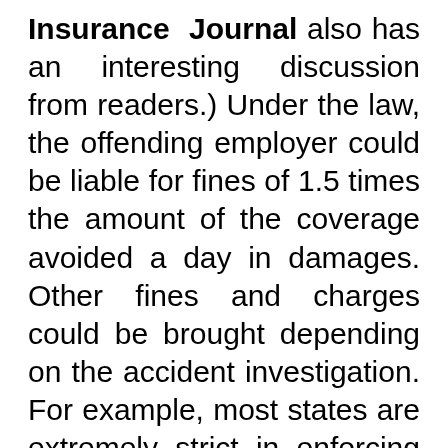Insurance Journal also has an interesting discussion from readers.) Under the law, the offending employer could be liable for fines of 1.5 times the amount of the coverage avoided a day in damages. Other fines and charges could be brought depending on the accident investigation. For example, most states are extremely strict in enforcing child labor laws. This is a sad and terrible story for so many reasons. Rarely are fatal work accidents freak events – most could be prevented with adherence to safety rules and OSHA standards. It also